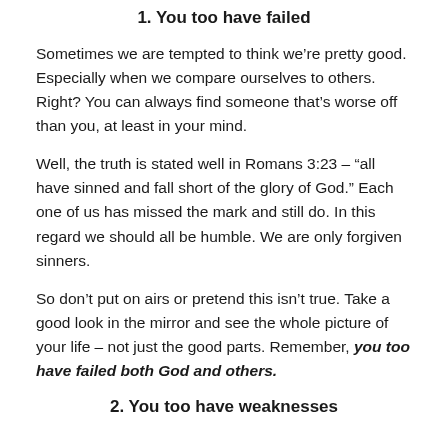1. You too have failed
Sometimes we are tempted to think we’re pretty good. Especially when we compare ourselves to others. Right? You can always find someone that’s worse off than you, at least in your mind.
Well, the truth is stated well in Romans 3:23 – “all have sinned and fall short of the glory of God.” Each one of us has missed the mark and still do. In this regard we should all be humble. We are only forgiven sinners.
So don’t put on airs or pretend this isn’t true. Take a good look in the mirror and see the whole picture of your life – not just the good parts. Remember, you too have failed both God and others.
2. You too have weaknesses